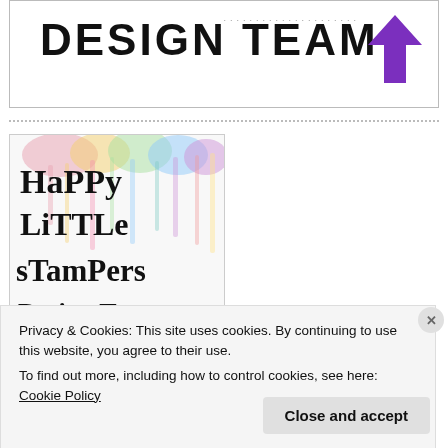[Figure (logo): Banner with text DESIGN TEAM in large bold letters and a purple upward arrow icon, with dotted lines across the top]
[Figure (logo): Happy Little Stampers Design Team logo with colorful watercolor background and serif bold text]
Privacy & Cookies: This site uses cookies. By continuing to use this website, you agree to their use.
To find out more, including how to control cookies, see here: Cookie Policy
Close and accept